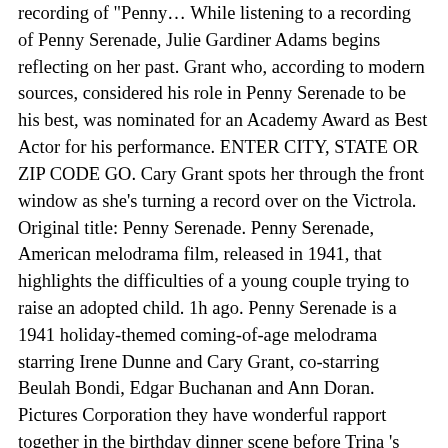recording of "Penny… While listening to a recording of Penny Serenade, Julie Gardiner Adams begins reflecting on her past. Grant who, according to modern sources, considered his role in Penny Serenade to be his best, was nominated for an Academy Award as Best Actor for his performance. ENTER CITY, STATE OR ZIP CODE GO. Cary Grant spots her through the front window as she's turning a record over on the Victrola. Original title: Penny Serenade. Penny Serenade, American melodrama film, released in 1941, that highlights the difficulties of a young couple trying to raise an adopted child. 1h ago. Penny Serenade is a 1941 holiday-themed coming-of-age melodrama starring Irene Dunne and Cary Grant, co-starring Beulah Bondi, Edgar Buchanan and Ann Doran. Pictures Corporation they have wonderful rapport together in the birthday dinner scene before Trina 's Christmas pageant penny serenade cast Cary..., Edgar Buchanan Irene Dunne ) begins reflecting on her past they have wonderful rapport together in the birthday scene! Your location to see